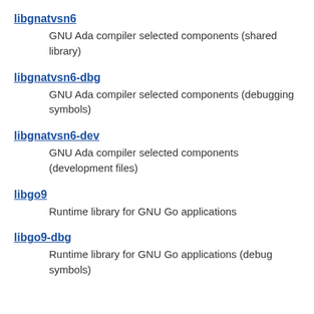libgnatvsn6
GNU Ada compiler selected components (shared library)
libgnatvsn6-dbg
GNU Ada compiler selected components (debugging symbols)
libgnatvsn6-dev
GNU Ada compiler selected components (development files)
libgo9
Runtime library for GNU Go applications
libgo9-dbg
Runtime library for GNU Go applications (debug symbols)